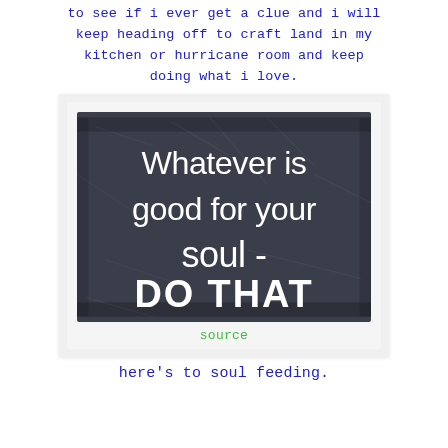to see if i ever get a clue and i will keep heading off to craft land in my kitchen or hurricane room and keep doing what i love.
[Figure (photo): A dark chalkboard-textured image with white text reading: 'Whatever is good for your soul - DO THAT']
source
here's to soul feeding.